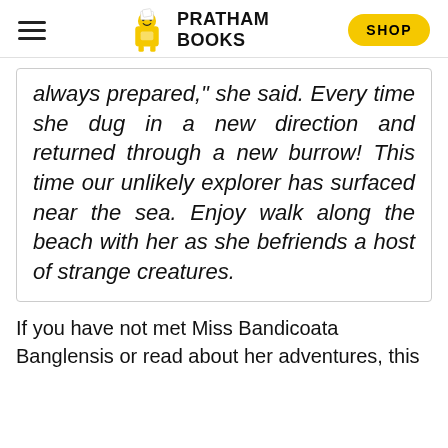PRATHAM BOOKS | SHOP
always prepared," she said. Every time she dug in a new direction and returned through a new burrow! This time our unlikely explorer has surfaced near the sea. Enjoy walk along the beach with her as she befriends a host of strange creatures.
If you have not met Miss Bandicoata Banglensis or read about her adventures, this